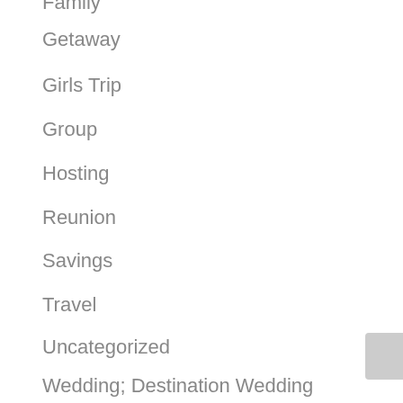Family
Getaway
Girls Trip
Group
Hosting
Reunion
Savings
Travel
Uncategorized
Wedding; Destination Wedding
Meta
Log in
Entries feed